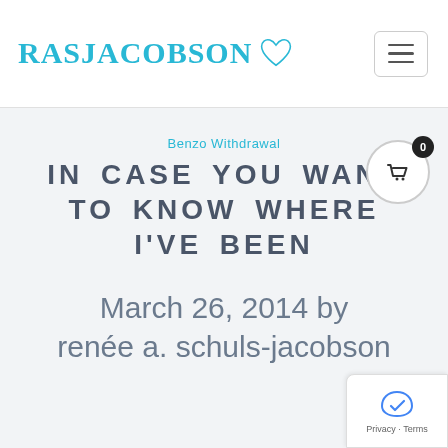RASJACOBSON
Benzo Withdrawal
IN CASE YOU WANT TO KNOW WHERE I'VE BEEN
March 26, 2014 by renée a. schuls-jacobson